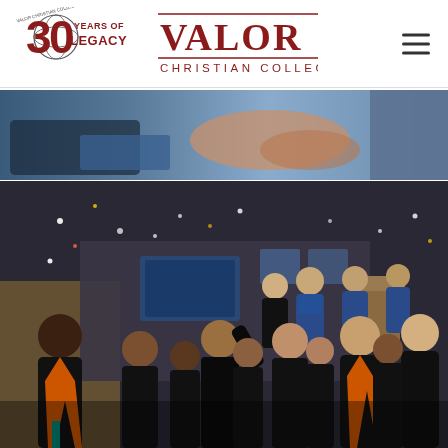[Figure (logo): 30 Years of Legacy logo with circular globe emblem and red/dark text, alongside Valor Christian College wordmark in dark red serif font]
[Figure (photo): Close-up photo of hands on a blue surface, likely a graduation or academic context]
[Figure (photo): Graduation ceremony photo showing graduates in black robes with orange/red stoles celebrating, faculty on stage in blue academic regalia, confetti in the air inside a gymnasium]